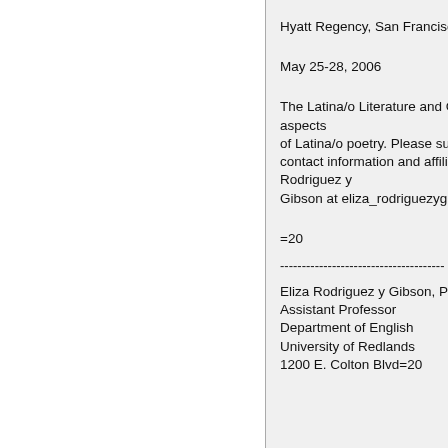Hyatt Regency, San Francisco
May 25-28, 2006
The Latina/o Literature and C[ulture panel invites papers on all aspects of Latina/o poetry. Please sub[mit abstracts with contact information and affilia[tion to Eliza Rodriguez y Gibson at eliza_rodriguezgib[son@redlands.edu]
=20
--------------------------------------
Eliza Rodriguez y Gibson, PhD
Assistant Professor
Department of English
University of Redlands
1200 E. Colton Blvd=20